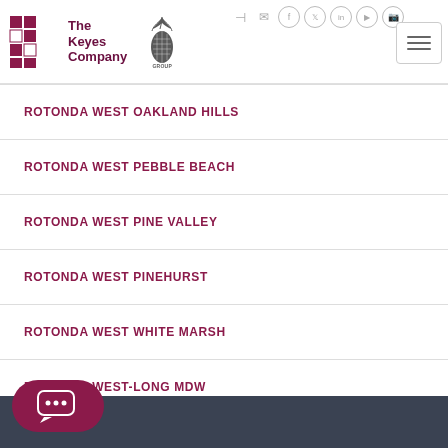The Keyes Company - Dave Magua Group
ROTONDA WEST OAKLAND HILLS
ROTONDA WEST PEBBLE BEACH
ROTONDA WEST PINE VALLEY
ROTONDA WEST PINEHURST
ROTONDA WEST WHITE MARSH
ROTONDA WEST-LONG MDW